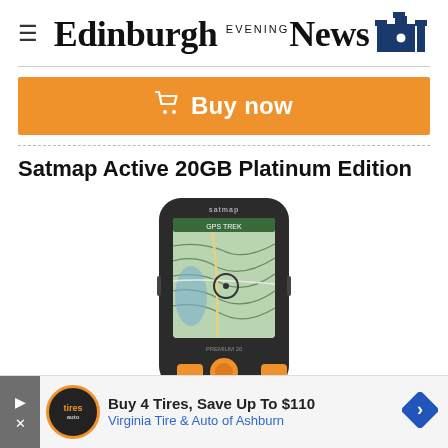Edinburgh Evening News
Buy now
Satmap Active 20GB Platinum Edition
[Figure (photo): Satmap Active GPS device showing a topographic map on its screen, with orange navigation buttons at the bottom]
Buy 4 Tires, Save Up To $110 Virginia Tire & Auto of Ashburn